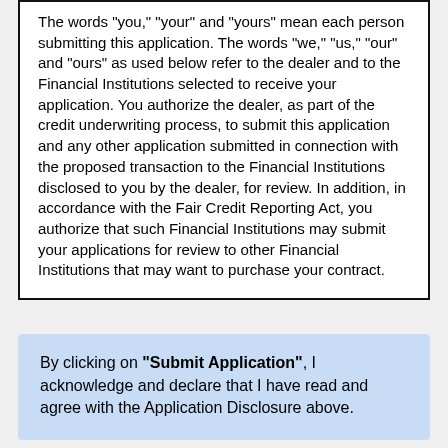The words "you," "your" and "yours" mean each person submitting this application. The words "we," "us," "our" and "ours" as used below refer to the dealer and to the Financial Institutions selected to receive your application. You authorize the dealer, as part of the credit underwriting process, to submit this application and any other application submitted in connection with the proposed transaction to the Financial Institutions disclosed to you by the dealer, for review. In addition, in accordance with the Fair Credit Reporting Act, you authorize that such Financial Institutions may submit your applications for review to other Financial Institutions that may want to purchase your contract.

You agree that we and any Financial Institutions to which your application is submitted may obtain a consumer credit report periodically from one or more consumer reporting agencies (credit bureaus) in connection with the proposed
By clicking on "Submit Application", I acknowledge and declare that I have read and agree with the Application Disclosure above.